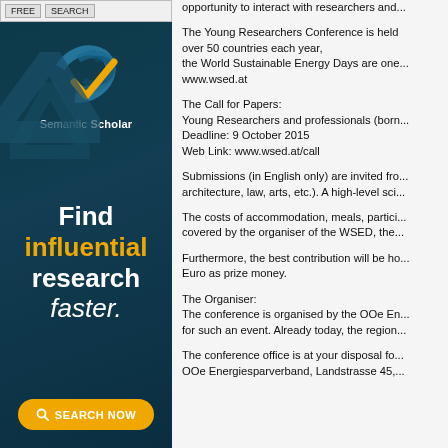[Figure (advertisement): Semantic Scholar advertisement banner with dark teal background, logo with blue and yellow swoosh/checkmark, tagline 'Find influential research faster.' and orange 'SEARCH NOW' button]
opportunity to interact with researchers and...
The Young Researchers Conference is held over 50 countries each year, the World Sustainable Energy Days are one... www.wsed.at
The Call for Papers:
Young Researchers and professionals (born...
Deadline: 9 October 2015
Web Link: www.wsed.at/call
Submissions (in English only) are invited from architecture, law, arts, etc.). A high-level sci...
The costs of accommodation, meals, participation covered by the organiser of the WSED, the...
Furthermore, the best contribution will be ho... Euro as prize money.
The Organiser:
The conference is organised by the OOe En... for such an event. Already today, the region...
The conference office is at your disposal for... OOe Energiesparverband, Landstrasse 45,...